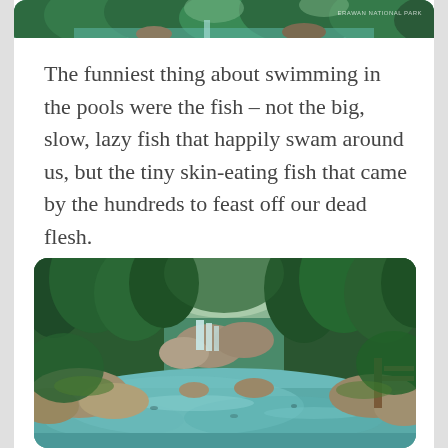[Figure (photo): Top strip showing a lush green waterfall pool landscape, partially cropped at the top of the page]
The funniest thing about swimming in the pools were the fish – not the big, slow, lazy fish that happily swam around us, but the tiny skin-eating fish that came by the hundreds to feast off our dead flesh.
[Figure (photo): A beautiful tropical waterfall flowing into a turquoise pool surrounded by dense green jungle/forest vegetation]